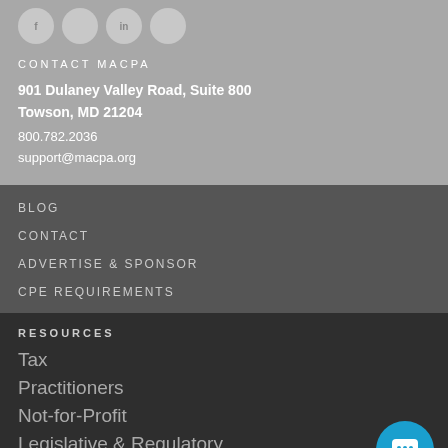[Figure (other): Four circular social media icon buttons in light gray]
CONTACT MACPA
901 Dulaney Valley Road, Suite 800
Towson, MD 21204
800.782.2036
support@macpa.org
BLOG
CONTACT
ADVERTISE & SPONSOR
CPE REQUIREMENTS
RESOURCES
Tax
Practitioners
Not-for-Profit
Legislative & Regulatory
Business & Industry
[Figure (other): Blue circular chat/message button in bottom right corner]